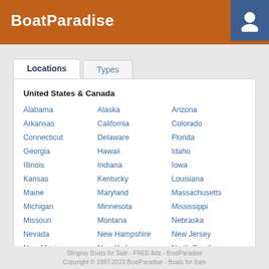BoatParadise
United States & Canada
Alabama
Alaska
Arizona
Arkansas
California
Colorado
Connecticut
Delaware
Florida
Georgia
Hawaii
Idaho
Illinois
Indiana
Iowa
Kansas
Kentucky
Louisiana
Maine
Maryland
Massachusetts
Michigan
Minnesota
Mississippi
Missouri
Montana
Nebraska
Nevada
New Hampshire
New Jersey
New Mexico
New York
North Carolina
Stingray Boats for Sale - FREE Ads - BoatParadise
Copyright © 1997-2023 BoatParadise - Boats for Sale